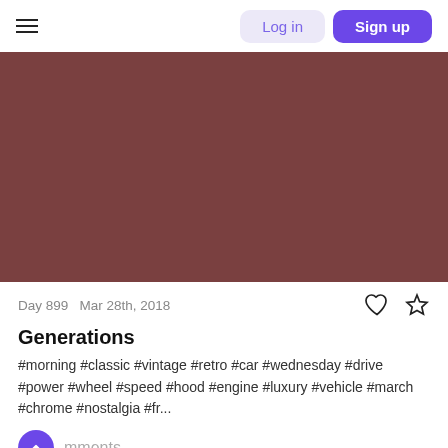Log in  Sign up
[Figure (photo): Dark brownish-red rectangular hero image placeholder]
Day 899  Mar 28th, 2018
Generations
#morning #classic #vintage #retro #car #wednesday #drive #power #wheel #speed #hood #engine #luxury #vehicle #march #chrome #nostalgia #fr...
4 comments